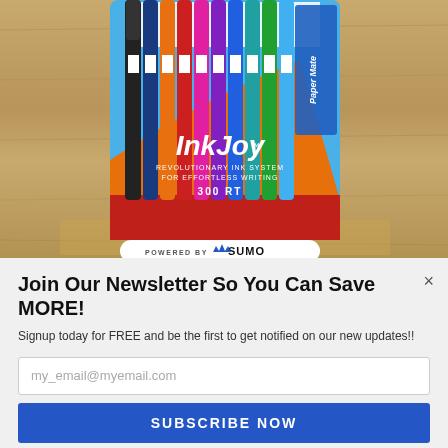[Figure (photo): Paper Mate InkJoy 300 RT pens product package with multiple colored pens displayed against a wood grain background. Package shows 'InkJoy' branding in large text, 'REVOLUTIONARY INK SYSTEM FOR EFFORTLESS WRITING', '300 RT', and a 'POWERED BY SUMO' badge at the bottom.]
Join Our Newsletter So You Can Save MORE!
Signup today for FREE and be the first to get notified on our new updates!!
my_email@myemail.com
SUBSCRIBE NOW